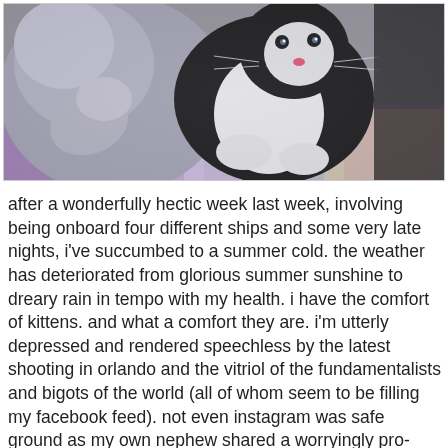[Figure (photo): Close-up photograph of a small black and white kitten lying on its back on a colorful quilt, with a gray cat partially visible beside it. The kitten has a pink nose and bright eyes.]
after a wonderfully hectic week last week, involving being onboard four different ships and some very late nights, i've succumbed to a summer cold. the weather has deteriorated from glorious summer sunshine to dreary rain in tempo with my health. i have the comfort of kittens. and what a comfort they are. i'm utterly depressed and rendered speechless by the latest shooting in orlando and the vitriol of the fundamentalists and bigots of the world (all of whom seem to be filling my facebook feed). not even instagram was safe ground as my own nephew shared a worryingly pro-gun, pro-trump post. i wonder if he even knows what he's saying? or if he's parroting the society around him? it's all too depressing, so i retreat to the comfort of kittens and cups of tea and